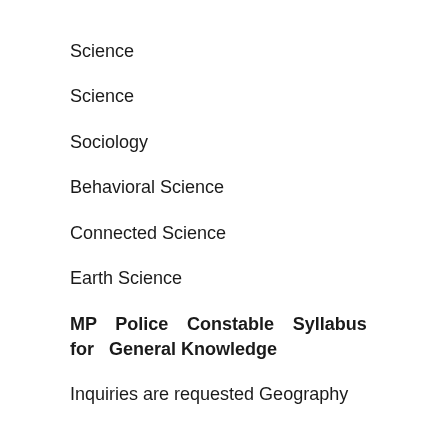Science
Science
Sociology
Behavioral Science
Connected Science
Earth Science
MP Police Constable Syllabus for General Knowledge
Inquiries are requested Geography